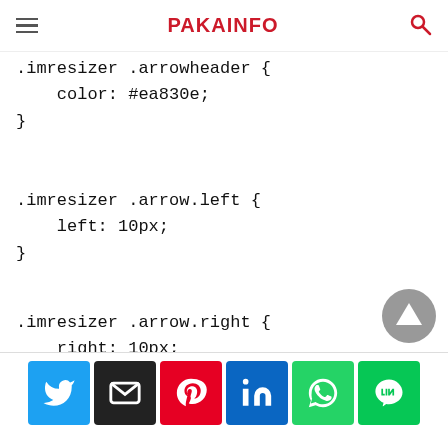PAKAINFO
.imresizer .arrowheader {
    color: #ea830e;
}
.imresizer .arrow.left {
    left: 10px;
}
.imresizer .arrow.right {
    right: 10px;
}
Social share buttons: Twitter, Email, Pinterest, LinkedIn, WhatsApp, LINE